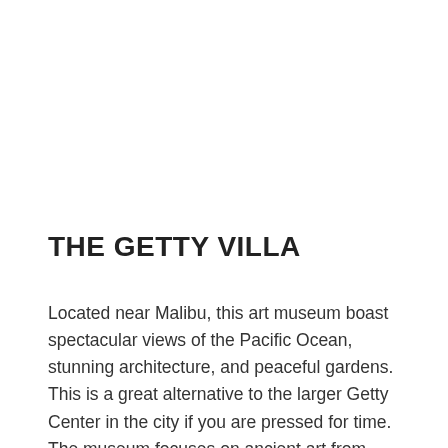THE GETTY VILLA
Located near Malibu, this art museum boast spectacular views of the Pacific Ocean, stunning architecture, and peaceful gardens. This is a great alternative to the larger Getty Center in the city if you are pressed for time. The museum focuses on ancient art from Rome, Greece and Etruria. Entrance is free, but you must purchase timed tickets ahead of time